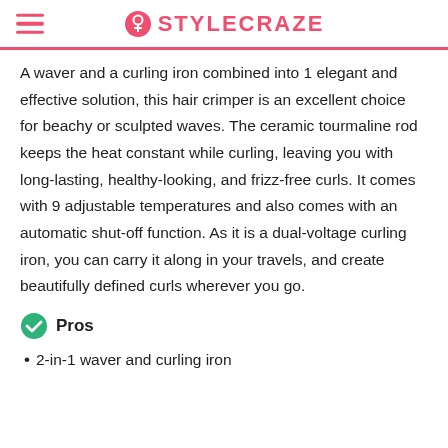STYLECRAZE
A waver and a curling iron combined into 1 elegant and effective solution, this hair crimper is an excellent choice for beachy or sculpted waves. The ceramic tourmaline rod keeps the heat constant while curling, leaving you with long-lasting, healthy-looking, and frizz-free curls. It comes with 9 adjustable temperatures and also comes with an automatic shut-off function. As it is a dual-voltage curling iron, you can carry it along in your travels, and create beautifully defined curls wherever you go.
Pros
2-in-1 waver and curling iron